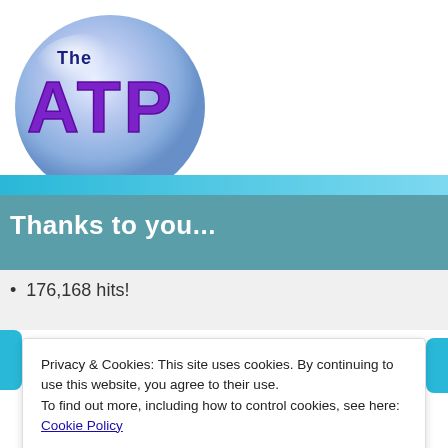[Figure (logo): The ATP logo — a blue-purple glassy sphere with 'The' in dark blue and 'ATP' in large purple bold letters]
Thanks to you...
176,168 hits!
Privacy & Cookies: This site uses cookies. By continuing to use this website, you agree to their use.
To find out more, including how to control cookies, see here: Cookie Policy
Close and accept